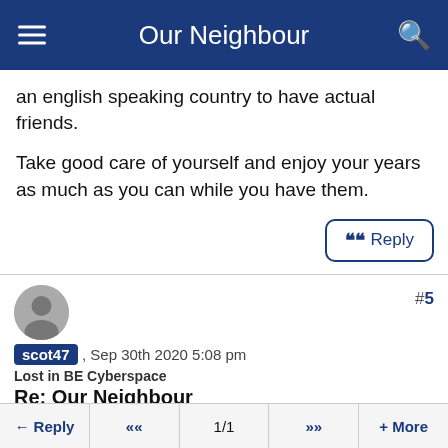Our Neighbour
an english speaking country to have actual friends.
Take good care of yourself and enjoy your years as much as you can while you have them.
Reply
#5
scot47 , Sep 30th 2020 5:08 pm
Lost in BE Cyberspace
Re: Our Neighbour
[Figure (screenshot): Embedded media player showing error message: 'The media could not be loaded, either because the server or network failed or because the format is not supported.' Overlaid with an advertisement for 'MLB 8/23 Preview: Should You Take The Padres (-1.5) Vs. Guardians?']
Reply  «  1/1  »  + More